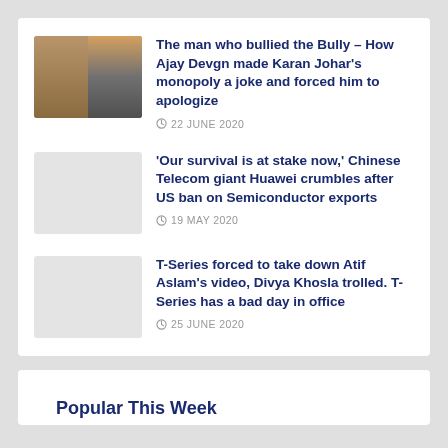The man who bullied the Bully – How Ajay Devgn made Karan Johar's monopoly a joke and forced him to apologize | 22 JUNE 2020
'Our survival is at stake now,' Chinese Telecom giant Huawei crumbles after US ban on Semiconductor exports | 19 MAY 2020
T-Series forced to take down Atif Aslam's video, Divya Khosla trolled. T-Series has a bad day in office | 25 JUNE 2020
Popular This Week